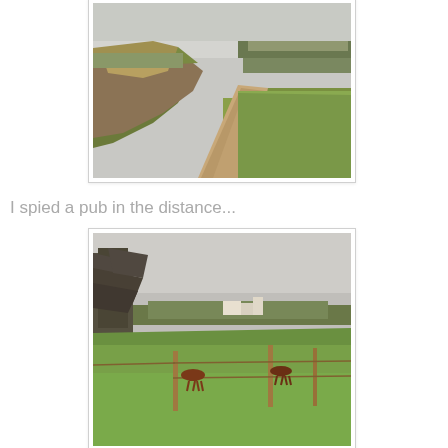[Figure (photo): A dirt/gravel path stretching into the distance, flanked by grass banks and wild vegetation on the left and green grass on the right, with bare trees visible in the background under an overcast sky.]
I spied a pub in the distance...
[Figure (photo): A wide green field with horses grazing, fenced in the foreground with wooden posts, bare trees on the left, and a cluster of buildings visible in the middle distance under a grey overcast sky.]